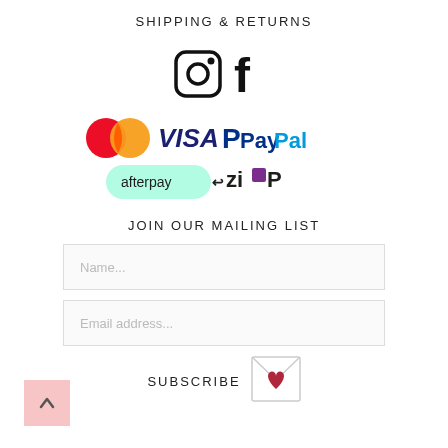SHIPPING & RETURNS
[Figure (logo): Instagram and Facebook social media icons]
[Figure (logo): Payment method logos: Mastercard, VISA, PayPal, Afterpay, Zip]
JOIN OUR MAILING LIST
Name...
Email address...
SUBSCRIBE
[Figure (illustration): Envelope with heart icon (subscribe button)]
[Figure (illustration): Back to top arrow button (pink square)]